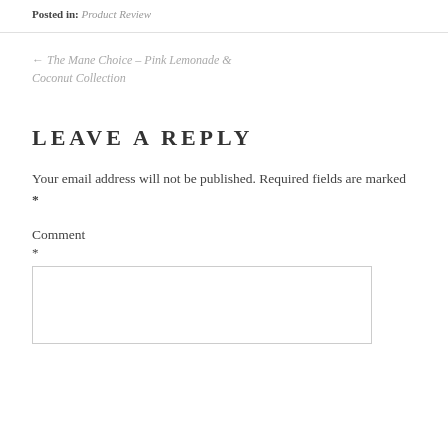Posted in: Product Review
← The Mane Choice – Pink Lemonade & Coconut Collection
LEAVE A REPLY
Your email address will not be published. Required fields are marked *
Comment
*